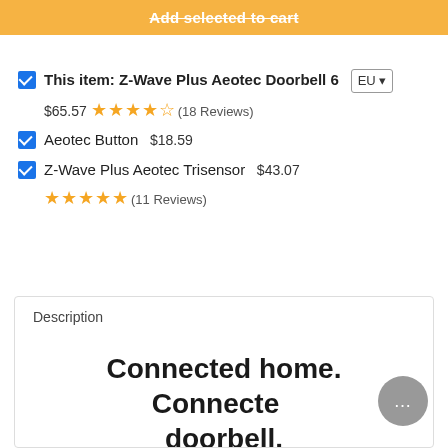Add selected to cart
This item: Z-Wave Plus Aeotec Doorbell 6  EU  $65.57  ★★★★☆ (18 Reviews)
Aeotec Button  $18.59
Z-Wave Plus Aeotec Trisensor  $43.07  ★★★★★ (11 Reviews)
Description
Connected home. Connected doorbell.